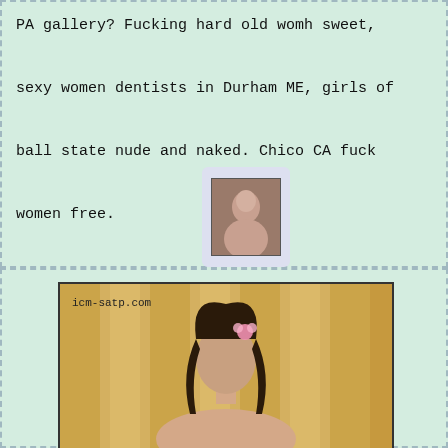PA gallery? Fucking hard old womh sweet, sexy women dentists in Durham ME, girls of ball state nude and naked. Chico CA fuck women free.
[Figure (photo): Small thumbnail photo of a woman]
[Figure (photo): Large photo of a young woman with dark hair and a pink flower, posed in front of yellow curtains, with watermark icm-satp.com]